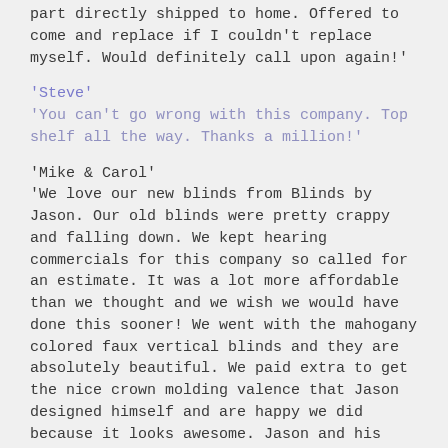part directly shipped to home. Offered to come and replace if I couldn't replace myself. Would definitely call upon again!'
'Steve'
'You can't go wrong with this company. Top shelf all the way. Thanks a million!'
'Mike & Carol'
'We love our new blinds from Blinds by Jason. Our old blinds were pretty crappy and falling down. We kept hearing commercials for this company so called for an estimate. It was a lot more affordable than we thought and we wish we would have done this sooner! We went with the mahogany colored faux vertical blinds and they are absolutely beautiful. We paid extra to get the nice crown molding valence that Jason designed himself and are happy we did because it looks awesome. Jason and his assistant were very professional and efficient and had our old blinds out and the new blinds installed in 35 minutes. They also took the old blinds away for us. We recommend Blinds by Jason for